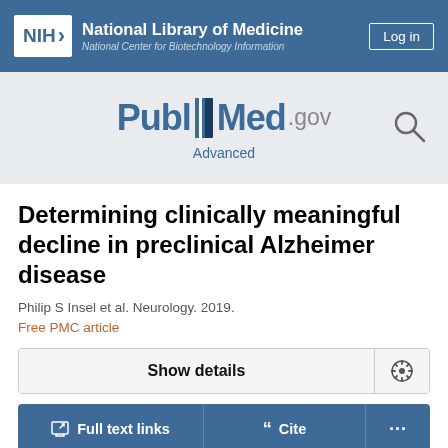NIH National Library of Medicine — National Center for Biotechnology Information
[Figure (logo): PubMed.gov logo with book icon and Advanced search link]
Determining clinically meaningful decline in preclinical Alzheimer disease
Philip S Insel et al. Neurology. 2019.
Free PMC article
Show details
Full text links   Cite   ...